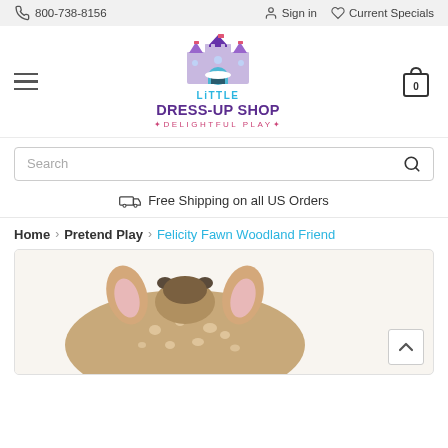800-738-8156   Sign in   Current Specials
[Figure (logo): Little Dress-Up Shop logo with castle graphic, text: LiTTLE DRESS-UP SHOP *DELIGHTFUL PLAY*]
Search
Free Shipping on all US Orders
Home > Pretend Play > Felicity Fawn Woodland Friend
[Figure (photo): Close-up photo of a plush fawn toy (Felicity Fawn Woodland Friend) showing the top of the fawn's head with pink and beige ears and spotted fur pattern, viewed from above.]